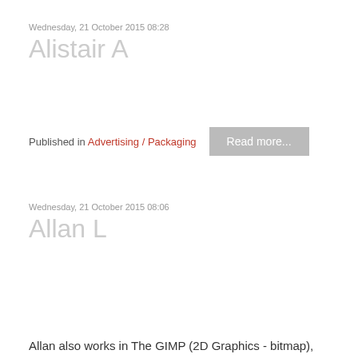Wednesday, 21 October 2015 08:28
Alistair A
Published in Advertising / Packaging
Wednesday, 21 October 2015 08:06
Allan L
Allan also works in The GIMP (2D Graphics - bitmap), Inkscape (2D Vector Graphics), Blender and Maya (3D animation), Voodoo (3D